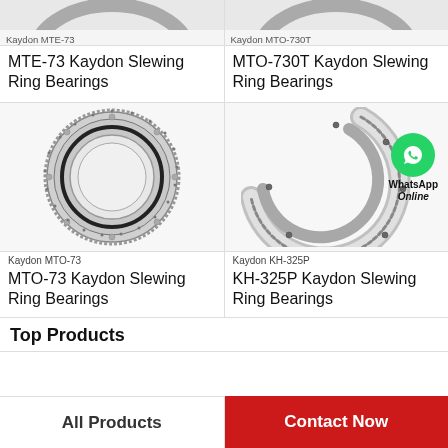[Figure (photo): Kaydon MTE-73 slewing ring bearing photo (partial, top cropped)]
MTE-73 Kaydon Slewing Ring Bearings
[Figure (photo): Kaydon MTO-730T slewing ring bearing photo (partial, top cropped)]
MTO-730T Kaydon Slewing Ring Bearings
[Figure (photo): Kaydon MTO-73 slewing ring bearing, large circular bearing with gear teeth on outer ring]
Kaydon MTO-73
MTO-73 Kaydon Slewing Ring Bearings
[Figure (photo): Kaydon KH-325P slewing ring bearing with WhatsApp Online overlay]
Kaydon KH-325P
KH-325P Kaydon Slewing Ring Bearings
Top Products
All Products
Contact Now